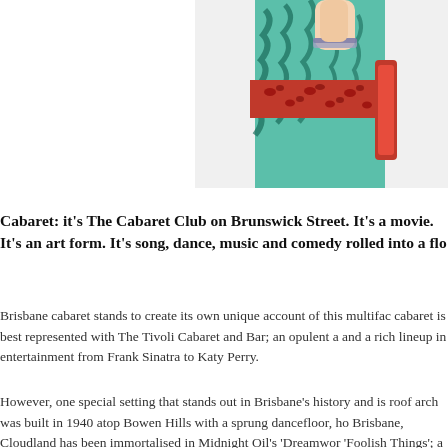[Figure (photo): Partial photo of a person wearing a teal/green zebra-print outfit with a red leopard-print belt/sash, arm raised, bracelet visible on wrist.]
Cabaret: it's The Cabaret Club on Brunswick Street. It's a movie. It's an art form. It's song, dance, music and comedy rolled into a flo
Brisbane cabaret stands to create its own unique account of this multifac cabaret is best represented with The Tivoli Cabaret and Bar; an opulent a and a rich lineup in entertainment from Frank Sinatra to Katy Perry.
However, one special setting that stands out in Brisbane's history and is roof arch was built in 1940 atop Bowen Hills with a sprung dancefloor, ho Brisbane, Cloudland has been immortalised in Midnight Oil's 'Dreamwor 'Foolish Things'; a stage show developed by local artists Leah Cotterall a